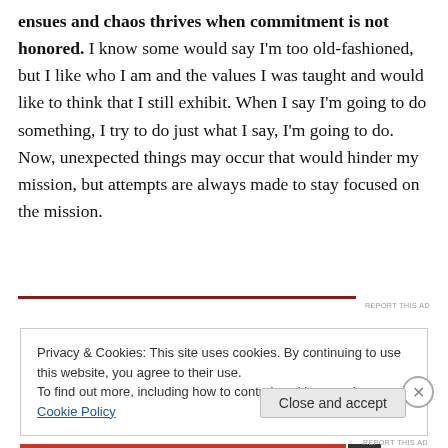ensues and chaos thrives when commitment is not honored. I know some would say I'm too old-fashioned, but I like who I am and the values I was taught and would like to think that I still exhibit. When I say I'm going to do something, I try to do just what I say, I'm going to do. Now, unexpected things may occur that would hinder my mission, but attempts are always made to stay focused on the mission.
Privacy & Cookies: This site uses cookies. By continuing to use this website, you agree to their use. To find out more, including how to control cookies, see here: Cookie Policy